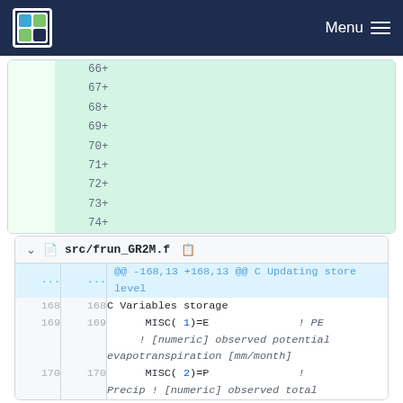Menu
|  | line | diff |
| --- | --- | --- |
|  | 66 | + |
|  | 67 | + |
|  | 68 | + |
|  | 69 | + |
|  | 70 | + |
|  | 71 | + |
|  | 72 | + |
|  | 73 | + |
|  | 74 | + |
src/frun_GR2M.f
| old | new | code |
| --- | --- | --- |
| ... | ... | @@ -168,13 +168,13 @@ C Updating store level |
| 168 | 168 | C Variables storage |
| 169 | 169 |     MISC( 1)=E              ! PE |
|  |  |       ! [numeric] observed potential evapotranspiration [mm/month] |
| 170 | 170 |     MISC( 2)=P              ! |
|  |  | Precip ! [numeric] observed total |